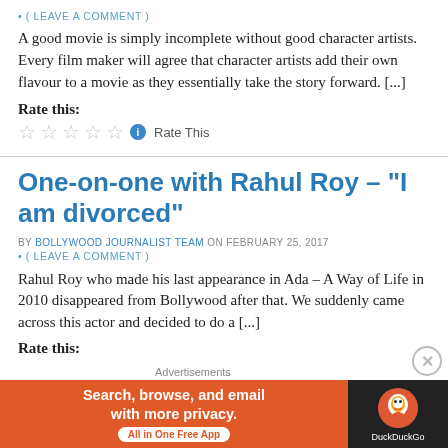• ( LEAVE A COMMENT )
A good movie is simply incomplete without good character artists. Every film maker will agree that character artists add their own flavour to a movie as they essentially take the story forward. [...]
Rate this:
[Figure (other): Five empty star rating icons followed by an info icon and 'Rate This' link]
One-on-one with Rahul Roy – "I am divorced"
BY BOLLYWOOD JOURNALIST TEAM ON FEBRUARY 25, 2017
• ( LEAVE A COMMENT )
Rahul Roy who made his last appearance in Ada – A Way of Life in 2010 disappeared from Bollywood after that. We suddenly came across this actor and decided to do a [...]
Rate this:
[Figure (infographic): DuckDuckGo advertisement banner: 'Search, browse, and email with more privacy. All in One Free App' with DuckDuckGo logo on dark background]